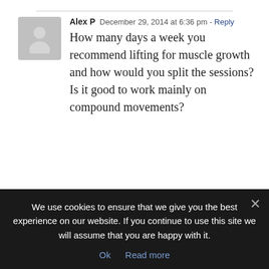Alex P  December 29, 2014 at 6:36 pm - Reply
How many days a week you recommend lifting for muscle growth and how would you split the sessions? Is it good to work mainly on compound movements?
DonHeatrick  December 30, 2014 at 10:43 am - Reply
Hi Alex,
As always, it's a balancing act around...
We use cookies to ensure that we give you the best experience on our website. If you continue to use this site we will assume that you are happy with it.
Ok   Read more